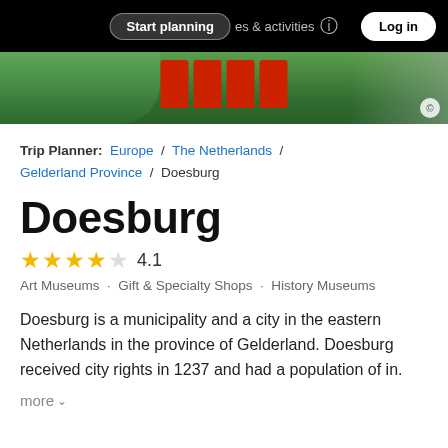Start planning   places & activities   Log in
[Figure (photo): Photo strip showing a street scene in Doesburg with trees and a red sign, with a copyright symbol in the bottom right corner.]
Trip Planner: Europe / The Netherlands / Gelderland Province / Doesburg
Doesburg
4.1 (4 out of 5 stars)
Art Museums · Gift & Specialty Shops · History Museums
Doesburg is a municipality and a city in the eastern Netherlands in the province of Gelderland. Doesburg received city rights in 1237 and had a population of in.
more ∨